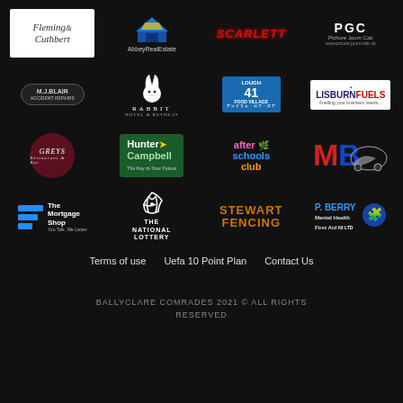[Figure (logo): Sponsor logos grid: Fleming & Cuthbert, Abbey Real Estate, Scarlett, PGC, M.J. Blair, The Rabbit Hotel & Retreat, Lough 41 Food Village, Lisburn Fuels, Greys, Hunter Campbell, After Schools Club, MB, The Mortgage Shop, The National Lottery, Stewart Fencing, P. Berry Mental Health First Aid NI Ltd]
Terms of use
Uefa 10 Point Plan
Contact Us
BALLYCLARE COMRADES 2021 © ALL RIGHTS RESERVED